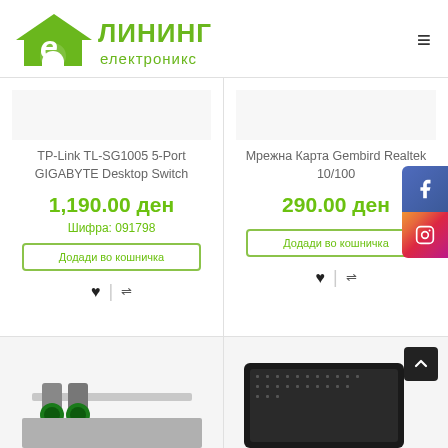[Figure (logo): е-Лининг електроникс logo with green house icon and green Cyrillic text]
TP-Link TL-SG1005 5-Port GIGABYTE Desktop Switch
1,190.00 ден
Шифра: 091798
Додади во кошничка
Мрежна Карта Gembird Realtek 10/100
290.00 ден
Додади во кошничка
[Figure (photo): Partial product image bottom-left card]
[Figure (photo): Partial product image bottom-right card]